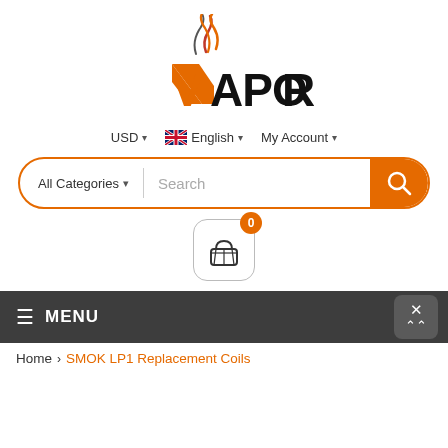[Figure (logo): VAPOR brand logo with orange V and smoke swirls above, black text for the rest of the wordmark]
USD ∨   🇬🇧 English ∨   My Account ∨
All Categories ∨ | Search
[Figure (illustration): Shopping cart icon with orange badge showing 0]
≡ MENU
Home › SMOK LP1 Replacement Coils